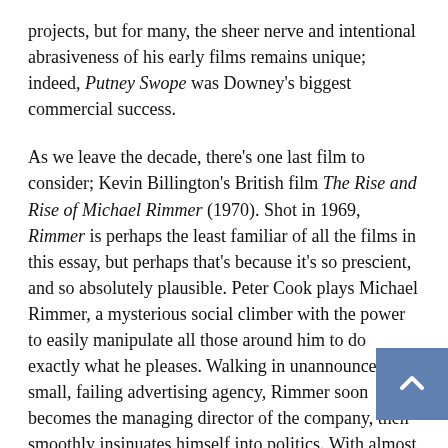projects, but for many, the sheer nerve and intentional abrasiveness of his early films remains unique; indeed, Putney Swope was Downey's biggest commercial success.
As we leave the decade, there's one last film to consider; Kevin Billington's British film The Rise and Rise of Michael Rimmer (1970). Shot in 1969, Rimmer is perhaps the least familiar of all the films in this essay, but perhaps that's because it's so prescient, and so absolutely plausible. Peter Cook plays Michael Rimmer, a mysterious social climber with the power to easily manipulate all those around him to do exactly what he pleases. Walking in unannounced to a small, failing advertising agency, Rimmer soon becomes the managing director of the company, then smoothly insinuates himself into politics. With almost supernatural ease, he rises to the head of the Conservative government, and soon becomes the Prime Minister of Britain, using a variety of publicity ploys, duplicitous campaign tactics and jingoistic sloganeering.